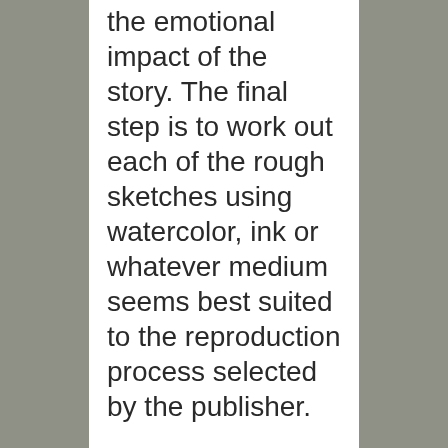the emotional impact of the story. The final step is to work out each of the rough sketches using watercolor, ink or whatever medium seems best suited to the reproduction process selected by the publisher.
My own method in color work is to make a fairly loose pencil